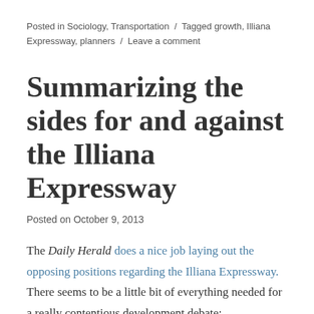Posted in Sociology, Transportation / Tagged growth, Illiana Expressway, planners / Leave a comment
Summarizing the sides for and against the Illiana Expressway
Posted on October 9, 2013
The Daily Herald does a nice job laying out the opposing positions regarding the Illiana Expressway. There seems to be a little bit of everything needed for a really contentious development debate:
[truncated]